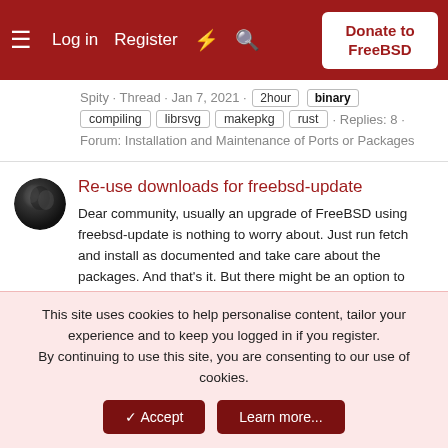Log in  Register  Donate to FreeBSD
Spity · Thread · Jan 7, 2021 · 2hour binary compiling librsvg makepkg rust · Replies: 8 · Forum: Installation and Maintenance of Ports or Packages
Re-use downloads for freebsd-update
Dear community, usually an upgrade of FreeBSD using freebsd-update is nothing to worry about. Just run fetch and install as documented and take care about the packages. And that's it. But there might be an option to speep up and save bandwidth if more than one system is to be updated. As far as...
chrbr · Thread · Sep 8, 2020 · binary freebsd-update release upgrade · Replies: 6 · Forum: Installing and Upgrading FreeBSD
This site uses cookies to help personalise content, tailor your experience and to keep you logged in if you register.
By continuing to use this site, you are consenting to our use of cookies.